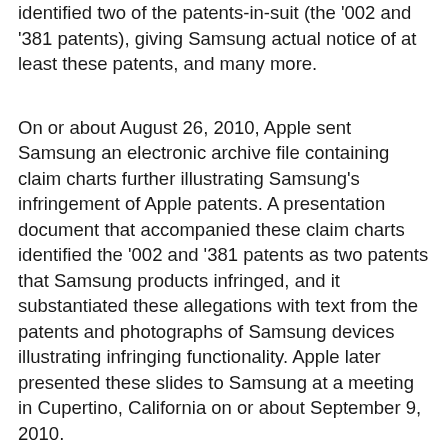identified two of the patents-in-suit (the '002 and '381 patents), giving Samsung actual notice of at least these patents, and many more.
On or about August 26, 2010, Apple sent Samsung an electronic archive file containing claim charts further illustrating Samsung's infringement of Apple patents. A presentation document that accompanied these claim charts identified the '002 and '381 patents as two patents that Samsung products infringed, and it substantiated these allegations with text from the patents and photographs of Samsung devices illustrating infringing functionality. Apple later presented these slides to Samsung at a meeting in Cupertino, California on or about September 9, 2010.